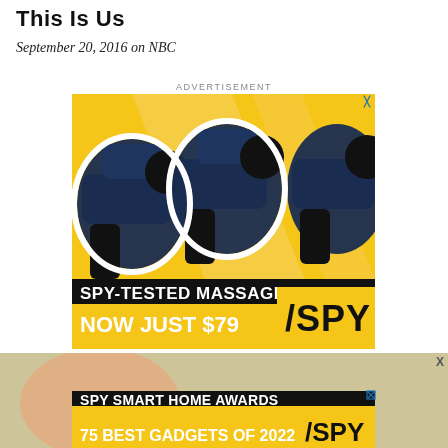This Is Us
September 20, 2016 on NBC
ADVERTISEMENT
[Figure (photo): Advertisement for SPY-Tested Massage Gun, Now Just $79 — shows blue massage guns on yellow background with SPY logo]
[Figure (photo): Advertisement for SPY Smart Home Awards: 75 Best Gadgets of 2022 — yellow and black banner with SPY logo, partial image of hand]